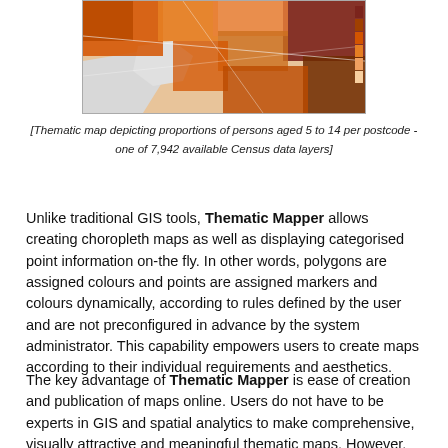[Figure (map): Thematic choropleth map showing proportions of persons aged 5 to 14 per postcode, rendered in shades of orange, red, and dark red. Partial view cropped at top.]
[Thematic map depicting proportions of persons aged 5 to 14 per postcode - one of 7,942 available Census data layers]
Unlike traditional GIS tools, Thematic Mapper allows creating choropleth maps as well as displaying categorised point information on-the fly. In other words, polygons are assigned colours and points are assigned markers and colours dynamically, according to rules defined by the user and are not preconfigured in advance by the system administrator. This capability empowers users to create maps according to their individual requirements and aesthetics.
The key advantage of Thematic Mapper is ease of creation and publication of maps online. Users do not have to be experts in GIS and spatial analytics to make comprehensive, visually attractive and meaningful thematic maps. However,